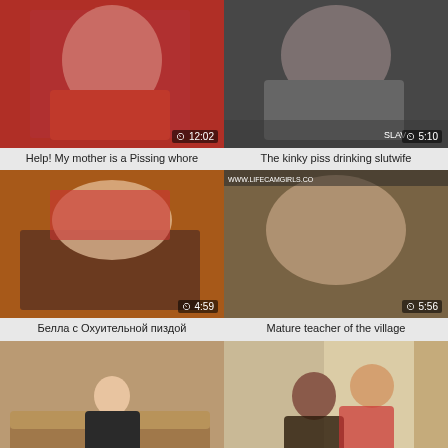[Figure (photo): Video thumbnail 1 - women in red, 12:02]
Help! My mother is a Pissing whore
[Figure (photo): Video thumbnail 2 - woman in grey, 5:10]
The kinky piss drinking slutwife
[Figure (photo): Video thumbnail 3 - explicit content, 4:59]
Белла с Охуительной пиздой
[Figure (photo): Video thumbnail 4 - webcam content, 5:56]
Mature teacher of the village
[Figure (photo): Video thumbnail 5 - woman on couch, 10:45]
Jazmine hermaphrodite pov
[Figure (photo): Video thumbnail 6 - couple, 10:47]
Mother and Son Piss Party